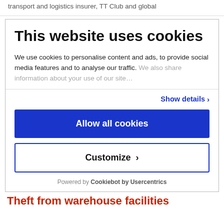transport and logistics insurer, TT Club and global
This website uses cookies
We use cookies to personalise content and ads, to provide social media features and to analyse our traffic. We also share information about your use of our site…
Show details ›
Allow all cookies
Customize ›
Powered by Cookiebot by Usercentrics
Theft from warehouse facilities